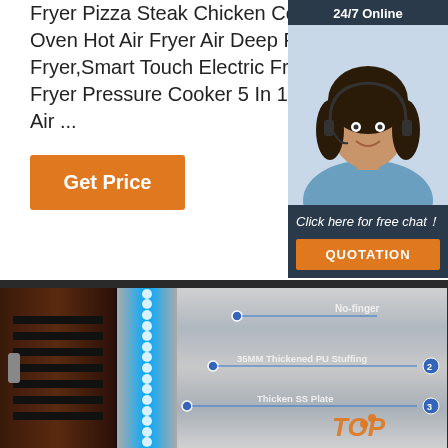Fryer Pizza Steak Chicken Cooker,Air Fryers Air Fryer Oven Hot Air Fryer Air Deep Fryer Power Air Fryer,Smart Touch Electric Fryer Digital Air Fryer Air Fryer Pressure Cooker 5 In 1,Electrical Deep Fryer 5l Air ...
Get Price
[Figure (screenshot): Chat widget with '24/7 Online' bar, photo of woman with headset, 'Click here for free chat!' text, and orange QUOTATION button]
[Figure (photo): Product detail image showing wine cooler/fridge exterior with dark wood panel on left, blue LED light strip in middle, stainless steel interior panel on right with annotations: 'No-finger' at top, '35MM Thickened PU Stuffing 2' in middle, 'Thicken SS Plate 3' at bottom. Orange TOP watermark logo visible.]